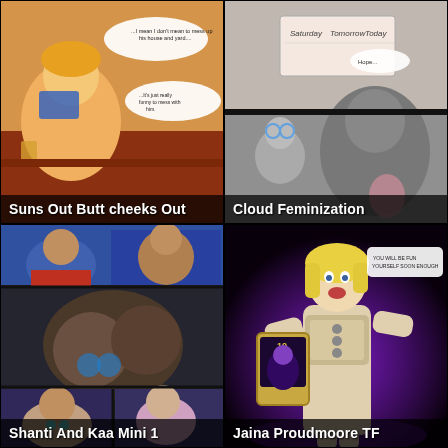[Figure (illustration): Animated comic scene with characters at a bar, speech bubbles visible, warm orange tones]
Suns Out Butt cheeks Out
[Figure (illustration): Cartoon comic panels with characters and speech bubbles, gray and pink tones]
Cloud Feminization
[Figure (illustration): Animated comic panels showing characters in blue and dark tones, multi-panel layout]
Shanti And Kaa Mini 1
[Figure (illustration): Fantasy warrior woman in armor holding a card, purple glow background, game card art style]
Jaina Proudmoore TF
[Figure (illustration): Animated colorful comic with red-haired character, rainbow background, multiple panels]
[Figure (illustration): Anime style illustration of brown-haired girl with cat ears, purple tones, Korean text, UP button visible]